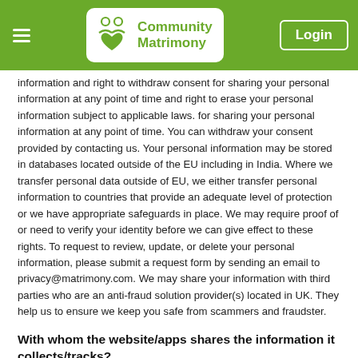Community Matrimony — Login
information and right to withdraw consent for sharing your personal information at any point of time and right to erase your personal information subject to applicable laws. for sharing your personal information at any point of time. You can withdraw your consent provided by contacting us. Your personal information may be stored in databases located outside of the EU including in India. Where we transfer personal data outside of EU, we either transfer personal information to countries that provide an adequate level of protection or we have appropriate safeguards in place. We may require proof of or need to verify your identity before we can give effect to these rights. To request to review, update, or delete your personal information, please submit a request form by sending an email to privacy@matrimony.com. We may share your information with third parties who are an anti-fraud solution provider(s) located in UK. They help us to ensure we keep you safe from scammers and fraudster.
With whom the website/apps shares the information it collects/tracks?
We may share such identifiable information with our associates/affiliates/subsidiaries and such associates/affiliates/subsidiaries may market to you as a result of such sharing. Any information you give us is held with the utmost care and security. We are also bound to cooperate fully should a situation arise where we are required by law or legal process